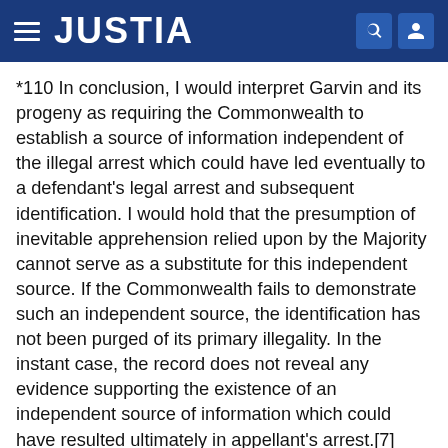JUSTIA
*110 In conclusion, I would interpret Garvin and its progeny as requiring the Commonwealth to establish a source of information independent of the illegal arrest which could have led eventually to a defendant's legal arrest and subsequent identification. I would hold that the presumption of inevitable apprehension relied upon by the Majority cannot serve as a substitute for this independent source. If the Commonwealth fails to demonstrate such an independent source, the identification has not been purged of its primary illegality. In the instant case, the record does not reveal any evidence supporting the existence of an independent source of information which could have resulted ultimately in appellant's arrest.[7] Accordingly, the lower court should have suppressed the identification testimony.